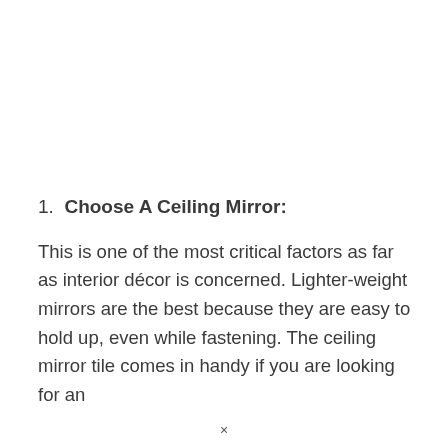1. Choose A Ceiling Mirror:
This is one of the most critical factors as far as interior décor is concerned. Lighter-weight mirrors are the best because they are easy to hold up, even while fastening. The ceiling mirror tile comes in handy if you are looking for an
×